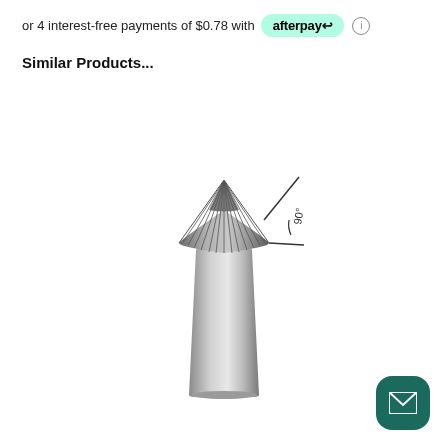or 4 interest-free payments of $0.78 with afterpay ℹ
Similar Products...
[Figure (photo): A dental or rotary carbide bur tool with a pointed conical head showing fluted cutting edges and a narrow shank. An angle annotation marking of 90° is shown at the tip of the bur head.]
[Figure (other): Dark teal rounded square button with an envelope/email icon in white.]